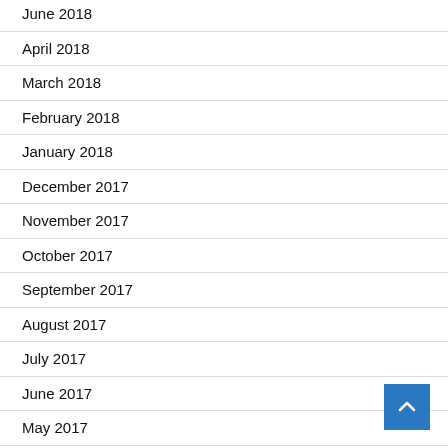June 2018
April 2018
March 2018
February 2018
January 2018
December 2017
November 2017
October 2017
September 2017
August 2017
July 2017
June 2017
May 2017
April 2017